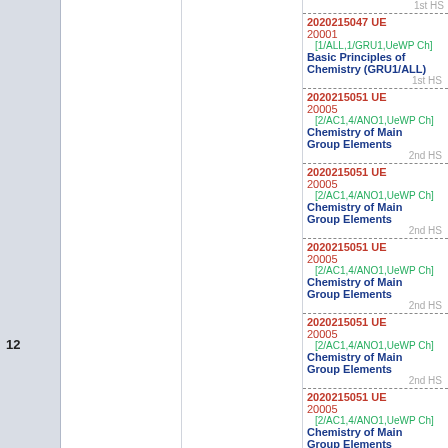1st HS
2020215047 UE 20001 [1/ALL,1/GRU1,UeWP Ch] Basic Principles of Chemistry (GRU1/ALL) 1st HS
2020215051 UE 20005 [2/AC1,4/ANO1,UeWP Ch] Chemistry of Main Group Elements 2nd HS
12
2020215051 UE 20005 [2/AC1,4/ANO1,UeWP Ch] Chemistry of Main Group Elements 2nd HS
2020215051 UE 20005 [2/AC1,4/ANO1,UeWP Ch] Chemistry of Main Group Elements 2nd HS
2020215051 UE 20005 [2/AC1,4/ANO1,UeWP Ch] Chemistry of Main Group Elements 2nd HS
2020215051 UE 20005 [2/AC1,4/ANO1,UeWP Ch] Chemistry of Main Group Elements 2nd HS
2020215073 VL 20067 [8/PC1,UeWP Ch]